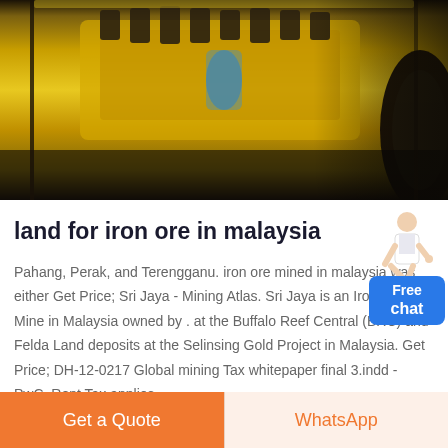[Figure (photo): Industrial yellow mining or crushing machine with large rotating components, photographed up close]
land for iron ore in malaysia
Pahang, Perak, and Terengganu. iron ore mined in malaysia was either Get Price; Sri Jaya - Mining Atlas. Sri Jaya is an Iron Ore Mine in Malaysia owned by . at the Buffalo Reef Central (BRC) and Felda Land deposits at the Selinsing Gold Project in Malaysia. Get Price; DH-12-0217 Global mining Tax whitepaper final 3.indd - PwC. Rent Tax applies ...
Get a Quote
WhatsApp